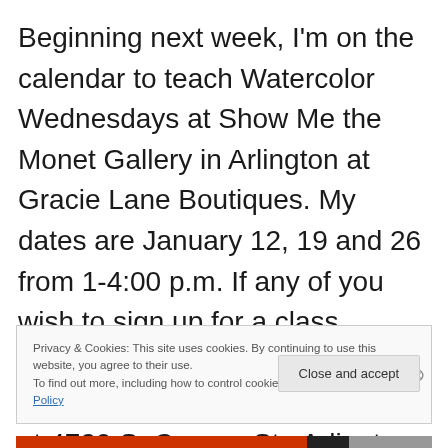Beginning next week, I'm on the calendar to teach Watercolor Wednesdays at Show Me the Monet Gallery in Arlington at Gracie Lane Boutiques. My dates are January 12, 19 and 26 from 1-4:00 p.m. If any of you wish to sign up for a class, phone Gracie Lane Boutiques at 817.468.5263. They are located at 4720 S. Cooper St., Arlington, TX 76017.
Privacy & Cookies: This site uses cookies. By continuing to use this website, you agree to their use. To find out more, including how to control cookies, see here: Cookie Policy